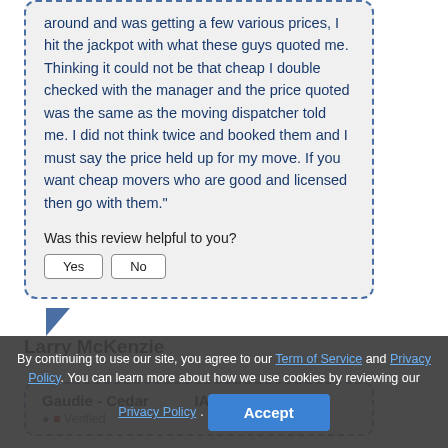around and was getting a few various prices, I hit the jackpot with what these guys quoted me. Thinking it could not be that cheap I double checked with the manager and the price quoted was the same as the moving dispatcher told me. I did not think twice and booked them and I must say the price held up for my move. If you want cheap movers who are good and licensed then go with them."
Was this review helpful to you?
Larry McKenzie
Gaudie - Cedar IA
Verified
By continuing to use our site, you agree to our Term of Service and Privacy Policy. You can learn more about how we use cookies by reviewing our Privacy Policy.